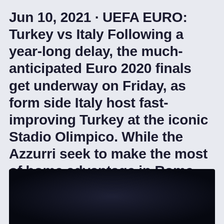Jun 10, 2021 · UEFA EURO: Turkey vs Italy Following a year-long delay, the much-anticipated Euro 2020 finals get underway on Friday, as form side Italy host fast-improving Turkey at the iconic Stadio Olimpico. While the Azzurri seek to make the most of home advantage in Rome, their Turkish counterparts are aiming to at least avoid defeat in their opening
[Figure (photo): Dark/black image at the bottom of the page, appearing to be a photo related to the UEFA EURO Turkey vs Italy match article]